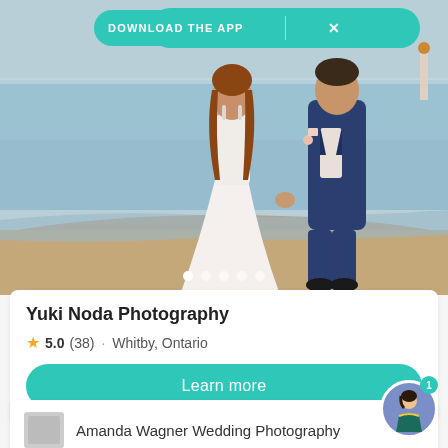[Figure (screenshot): Download the App banner button with teal background and X close button]
[Figure (photo): Wedding couple walking hand-in-hand on a beach. Woman in white dress, man in navy suit. Calm water background.]
Yuki Noda Photography
5.0 (38) · Whitby, Ontario
Learn more
Amanda Wagner Wedding Photography